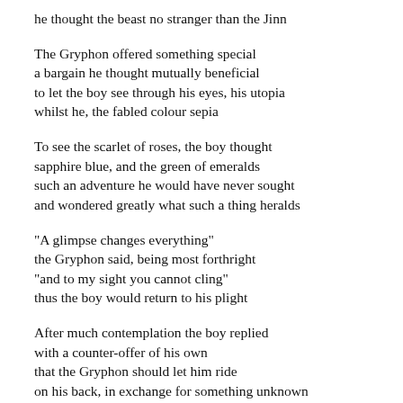he thought the beast no stranger than the Jinn
The Gryphon offered something special
a bargain he thought mutually beneficial
to let the boy see through his eyes, his utopia
whilst he, the fabled colour sepia
To see the scarlet of roses, the boy thought
sapphire blue, and the green of emeralds
such an adventure he would have never sought
and wondered greatly what such a thing heralds
"A glimpse changes everything"
the Gryphon said, being most forthright
"and to my sight you cannot cling"
thus the boy would return to his plight
After much contemplation the boy replied
with a counter-offer of his own
that the Gryphon should let him ride
on his back, in exchange for something unknown
The winged beast thought to himself
how strange the answer, almost that of elf
he thought the beast no stranger than the Jinn (continued/cut off at bottom)